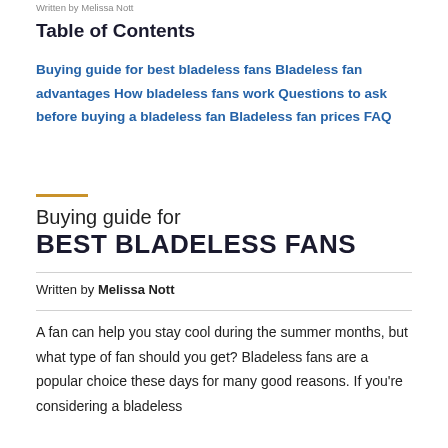Written by Melissa Nott
Table of Contents
Buying guide for best bladeless fans Bladeless fan advantages How bladeless fans work Questions to ask before buying a bladeless fan Bladeless fan prices FAQ
Buying guide for BEST BLADELESS FANS
Written by Melissa Nott
A fan can help you stay cool during the summer months, but what type of fan should you get? Bladeless fans are a popular choice these days for many good reasons. If you're considering a bladeless